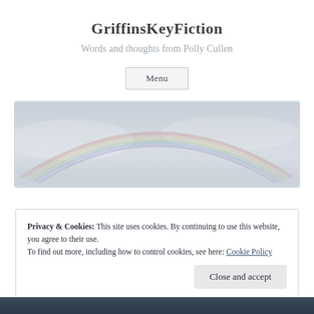GriffinsKeyFiction
Words and thoughts from Polly Cullen
Menu
[Figure (photo): A faint rainbow arching across a pale grey-blue sky, wide panoramic header image]
Privacy & Cookies: This site uses cookies. By continuing to use this website, you agree to their use.
To find out more, including how to control cookies, see here: Cookie Policy
Close and accept